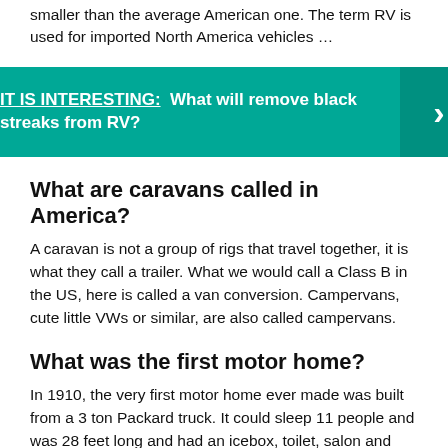smaller than the average American one. The term RV is used for imported North America vehicles …
IT IS INTERESTING:  What will remove black streaks from RV?
What are caravans called in America?
A caravan is not a group of rigs that travel together, it is what they call a trailer. What we would call a Class B in the US, here is called a van conversion. Campervans, cute little VWs or similar, are also called campervans.
What was the first motor home?
In 1910, the very first motor home ever made was built from a 3 ton Packard truck. It could sleep 11 people and was 28 feet long and had an icebox, toilet, salon and was 6 and a half feet wide. The motor home was used up to 1924. Campers continued to find more ingenious ways to adapt